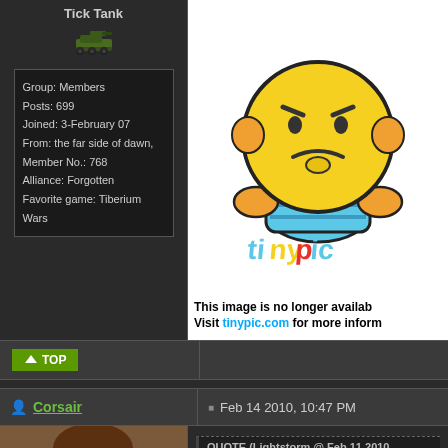Tick Tank
Group: Members
Posts: 699
Joined: 3-February 07
From: the far side of dawn,
Member No.: 768
Alliance: Forgotten
Favorite game: Tiberium Wars
[Figure (illustration): Tinypic placeholder image showing a sad yellow emoji face with blue body and 'tinypic' colorful logo, with text: This image is no longer available. Visit tinypic.com for more information.]
TOP
Corsair
Feb 14 2010, 10:47 PM
[Figure (photo): Profile photo of Corsair - a person's face photo]
QUOTE (Lightstorm @ Feb 11 2010, 06:44 PM)
the change wouldn't matter, remember the w
countries might have remained together